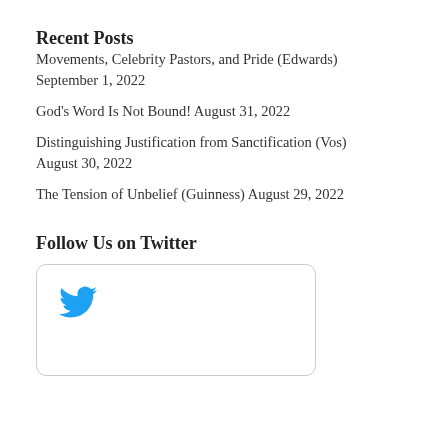Recent Posts
Movements, Celebrity Pastors, and Pride (Edwards) September 1, 2022
God’s Word Is Not Bound! August 31, 2022
Distinguishing Justification from Sanctification (Vos) August 30, 2022
The Tension of Unbelief (Guinness) August 29, 2022
Follow Us on Twitter
[Figure (logo): Twitter bird logo in blue inside a rounded-corner box]